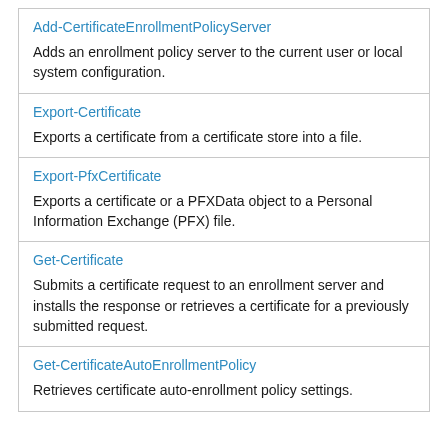| Add-CertificateEnrollmentPolicyServer | Adds an enrollment policy server to the current user or local system configuration. |
| Export-Certificate | Exports a certificate from a certificate store into a file. |
| Export-PfxCertificate | Exports a certificate or a PFXData object to a Personal Information Exchange (PFX) file. |
| Get-Certificate | Submits a certificate request to an enrollment server and installs the response or retrieves a certificate for a previously submitted request. |
| Get-CertificateAutoEnrollmentPolicy | Retrieves certificate auto-enrollment policy settings. |